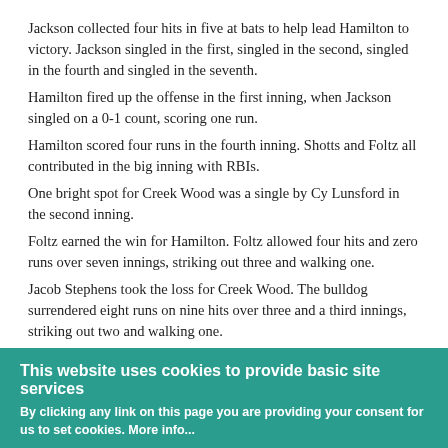Jackson collected four hits in five at bats to help lead Hamilton to victory. Jackson singled in the first, singled in the second, singled in the fourth and singled in the seventh.
Hamilton fired up the offense in the first inning, when Jackson singled on a 0-1 count, scoring one run.
Hamilton scored four runs in the fourth inning. Shotts and Foltz all contributed in the big inning with RBIs.
One bright spot for Creek Wood was a single by Cy Lunsford in the second inning.
Foltz earned the win for Hamilton. Foltz allowed four hits and zero runs over seven innings, striking out three and walking one.
Jacob Stephens took the loss for Creek Wood. The bulldog surrendered eight runs on nine hits over three and a third innings, striking out two and walking one.
Hamilton totaled 15 hits in the game. Jackson, Aycock and Shotts each racked up multiple hits. Jackson led with four hits in five at bats.
This website uses cookies to provide basic site services
By clicking any link on this page you are providing your consent for us to set cookies. More info...